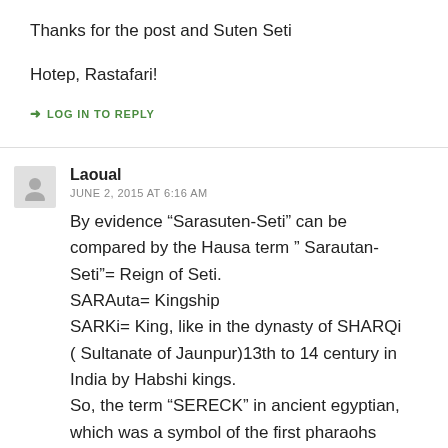Thanks for the post and Suten Seti
Hotep, Rastafari!
➜ LOG IN TO REPLY
Laoual
JUNE 2, 2015 AT 6:16 AM
By evidence “Sarasuten-Seti” can be compared by the Hausa term “ Sarautan-Seti”= Reign of Seti.
SARAuta= Kingship
SARKi= King, like in the dynasty of SHARQi ( Sultanate of Jaunpur)13th to 14 century in India by Habshi kings.
So, the term “SERECK” in ancient egyptian, which was a symbol of the first pharaohs could be spelled “SARKI”